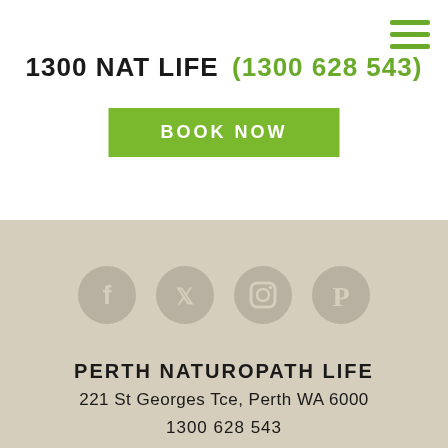1300 NAT LIFE   (1300 628 543)
BOOK NOW
[Figure (illustration): Four social media icons (Facebook, Twitter, Instagram, Pinterest) displayed as grey circles]
PERTH NATUROPATH LIFE
221 St Georges Tce, Perth WA 6000
1300 628 543